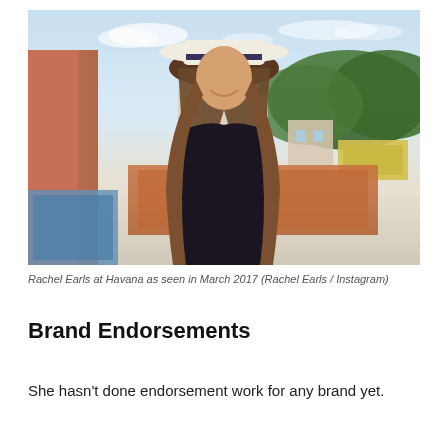[Figure (photo): A smiling woman with long brown hair wearing a white Panama hat and black top, photographed outdoors on a rooftop or balcony with a cityscape and hills in the background. The setting appears to be Havana, Cuba.]
Rachel Earls at Havana as seen in March 2017 (Rachel Earls / Instagram)
Brand Endorsements
She hasn't done endorsement work for any brand yet.